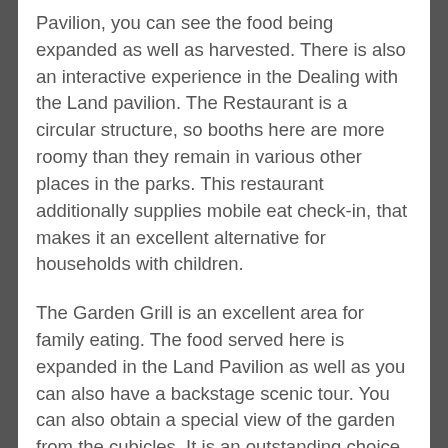Pavilion, you can see the food being expanded as well as harvested. There is also an interactive experience in the Dealing with the Land pavilion. The Restaurant is a circular structure, so booths here are more roomy than they remain in various other places in the parks. This restaurant additionally supplies mobile eat check-in, that makes it an excellent alternative for households with children.
The Garden Grill is an excellent area for family eating. The food served here is expanded in the Land Pavilion as well as you can also have a backstage scenic tour. You can also obtain a special view of the garden from the cubicles. It is an outstanding choice for household getaways and also birthday celebration events. Its unique design will certainly make everybody satisfied. It will certainly be a memorable area for your guests to